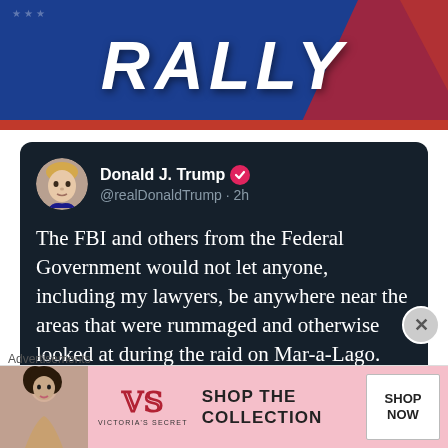[Figure (illustration): Rally banner with large bold white italic text 'RALLY' on dark blue background with red accent and splatter]
[Figure (screenshot): Tweet by Donald J. Trump (@realDonaldTrump · 2h) with dark navy background reading: 'The FBI and others from the Federal Government would not let anyone, including my lawyers, be anywhere near the areas that were rummaged and otherwise looked at during the raid on Mar-a-Lago. Everyone was asked to leave the premises, they wanted to be']
Advertisements
[Figure (illustration): Victoria's Secret advertisement with model, VS logo, text 'SHOP THE COLLECTION' and 'SHOP NOW' button on pink background]